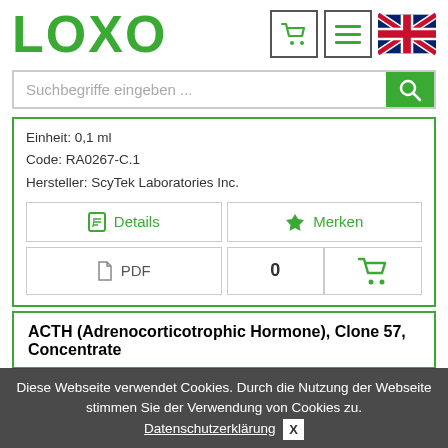[Figure (logo): LOXO brand logo in green text with shopping cart icon, menu icon, and UK flag icon]
Suchbegriffe eingeben ...
Einheit: 0,1 ml
Code: RA0267-C.1
Hersteller: ScyTek Laboratories Inc.
Details
Merken
PDF
0
ACTH (Adrenocorticotrophic Hormone), Clone 57, Concentrate
Diese Webseite verwendet Cookies. Durch die Nutzung der Webseite stimmen Sie der Verwendung von Cookies zu. Datenschutzerklärung X